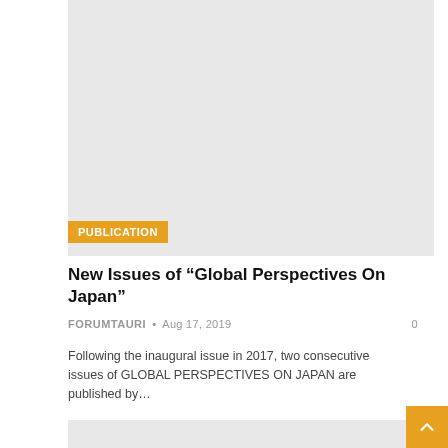[Figure (photo): Gray placeholder image for article thumbnail (top)]
PUBLICATION
New Issues of “Global Perspectives On Japan”
FORUMTAURI • Aug 17, 2019   0
Following the inaugural issue in 2017, two consecutive issues of GLOBAL PERSPECTIVES ON JAPAN are published by…
[Figure (photo): Gray placeholder image for second article thumbnail (bottom)]